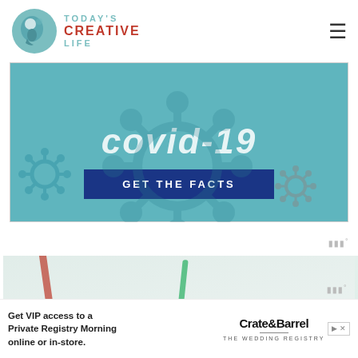TODAY'S CREATIVE LIFE
[Figure (infographic): COVID-19 infographic banner with teal background, large italic text 'covid-19', blue button 'GET THE FACTS', and decorative virus icons]
[Figure (photo): Partial photo showing colorful craft straws (red and green) on a light background]
Get VIP access to a Private Registry Morning online or in-store.
[Figure (logo): Crate & Barrel THE WEDDING REGISTRY logo]